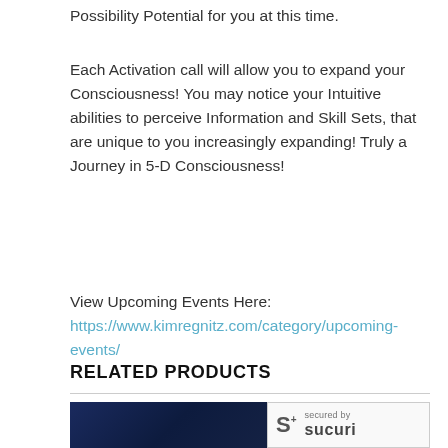Possibility Potential for you at this time.
Each Activation call will allow you to expand your Consciousness! You may notice your Intuitive abilities to perceive Information and Skill Sets, that are unique to you increasingly expanding! Truly a Journey in 5-D Consciousness!
View Upcoming Events Here: https://www.kimregnitz.com/category/upcoming-events/
RELATED PRODUCTS
[Figure (photo): Dark blue/navy background image, partially visible at bottom of page]
[Figure (logo): Sucuri security badge - 'secured by Sucuri' logo in a bordered box]